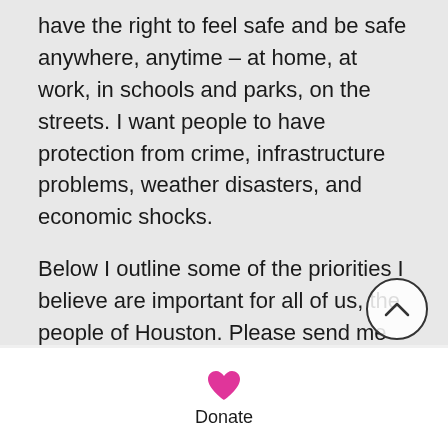have the right to feel safe and be safe anywhere, anytime – at home, at work, in schools and parks, on the streets. I want people to have protection from crime, infrastructure problems, weather disasters, and economic shocks.

Below I outline some of the priorities I believe are important for all of us, the people of Houston. Please send me your comments, questions, and concerns at piper@pipermadland.com. Together we can work for a better Houston.
[Figure (illustration): Pink heart icon above the word Donate]
Donate